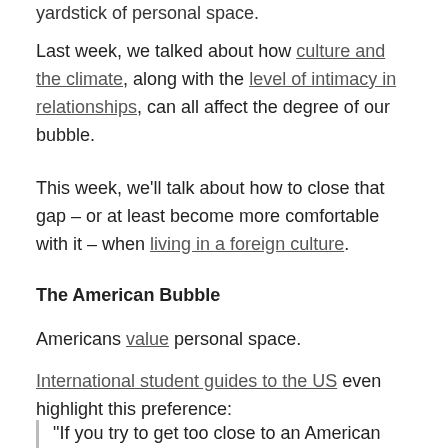yardstick of personal space.
Last week, we talked about how culture and the climate, along with the level of intimacy in relationships, can all affect the degree of our bubble.
This week, we'll talk about how to close that gap – or at least become more comfortable with it – when living in a foreign culture.
The American Bubble
Americans value personal space.
International student guides to the US even highlight this preference:
"If you try to get too close to an American during your